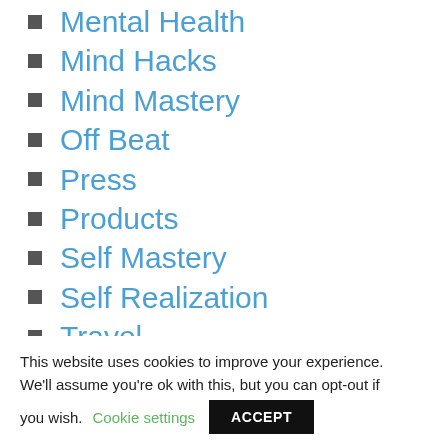Mental Health
Mind Hacks
Mind Mastery
Off Beat
Press
Products
Self Mastery
Self Realization
Travel
Updates
This website uses cookies to improve your experience. We'll assume you're ok with this, but you can opt-out if you wish. Cookie settings ACCEPT